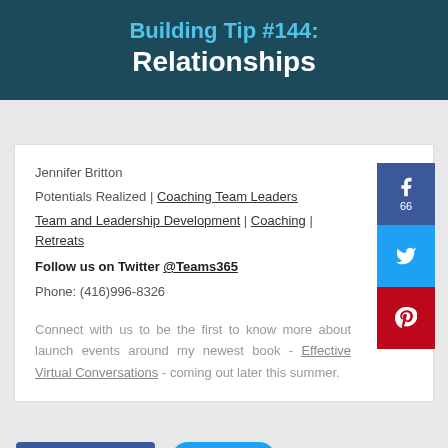Building Tip #144: Relationships
Jennifer Britton
Potentials Realized | Coaching Team Leaders
Team and Leadership Development | Coaching | Retreats
Follow us on Twitter @Teams365
Phone: (416)996-8326

Connect with us to be the first to know more about launch events around my newest book - Effective Virtual Conversations - coming out later this summer.